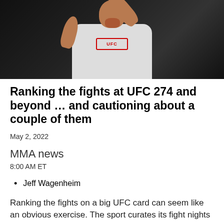[Figure (photo): A UFC fighter in a white UFC shirt celebrating with arm raised, against a dark/black background]
Ranking the fights at UFC 274 and beyond … and cautioning about a couple of them
May 2, 2022
MMA news
8:00 AM ET
Jeff Wagenheim
Ranking the fights on a big UFC card can seem like an obvious exercise. The sport curates its fight nights to build